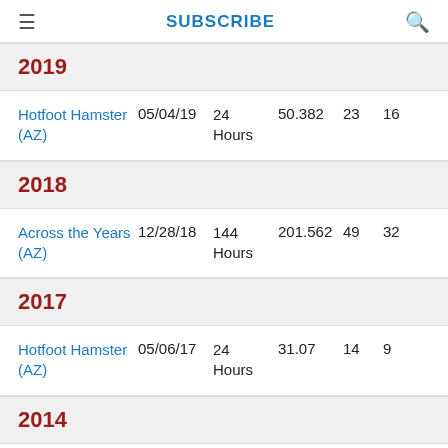≡  SUBSCRIBE  🔍
2019
Hotfoot Hamster (AZ)   05/04/19   24 Hours   50.382   23   16
2018
Across the Years (AZ)   12/28/18   144 Hours   201.562   49   32
2017
Hotfoot Hamster (AZ)   05/06/17   24 Hours   31.07   14   9
2014